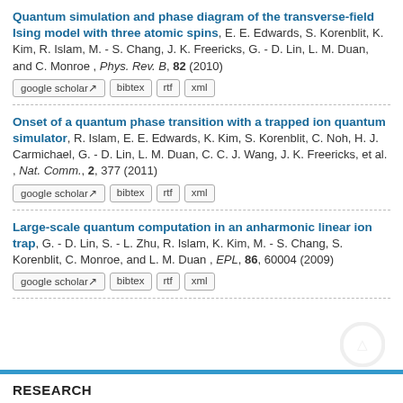Quantum simulation and phase diagram of the transverse-field Ising model with three atomic spins, E. E. Edwards, S. Korenblit, K. Kim, R. Islam, M. - S. Chang, J. K. Freericks, G. - D. Lin, L. M. Duan, and C. Monroe , Phys. Rev. B, 82 (2010)
google scholar | bibtex | rtf | xml
Onset of a quantum phase transition with a trapped ion quantum simulator, R. Islam, E. E. Edwards, K. Kim, S. Korenblit, C. Noh, H. J. Carmichael, G. - D. Lin, L. M. Duan, C. C. J. Wang, J. K. Freericks, et al. , Nat. Comm., 2, 377 (2011)
google scholar | bibtex | rtf | xml
Large-scale quantum computation in an anharmonic linear ion trap, G. - D. Lin, S. - L. Zhu, R. Islam, K. Kim, M. - S. Chang, S. Korenblit, C. Monroe, and L. M. Duan , EPL, 86, 60004 (2009)
google scholar | bibtex | rtf | xml
RESEARCH